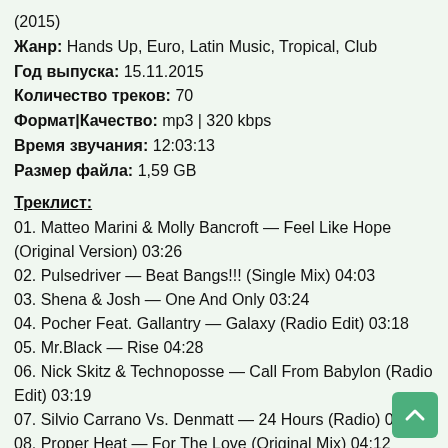(2015)
Жанр: Hands Up, Euro, Latin Music, Tropical, Club
Год выпуска: 15.11.2015
Количество треков: 70
Формат|Качество: mp3 | 320 kbps
Время звучания: 12:03:13
Размер файла: 1,59 GB
Треклист:
01. Matteo Marini & Molly Bancroft — Feel Like Hope (Original Version) 03:26
02. Pulsedriver — Beat Bangs!!! (Single Mix) 04:03
03. Shena & Josh — One And Only 03:24
04. Pocher Feat. Gallantry — Galaxy (Radio Edit) 03:18
05. Mr.Black — Rise 04:28
06. Nick Skitz & Technoposse — Call From Babylon (Radio Edit) 03:19
07. Silvio Carrano Vs. Denmatt — 24 Hours (Radio) 03:31
08. Proper Heat — For The Love (Original Mix) 04:12
09. Radio Killer — Kill The Lights 03:17